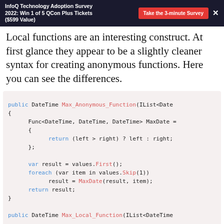InfoQ Technology Adoption Survey 2022: Win 1 of 5 QCon Plus Tickets ($599 Value)
Local functions are an interesting construct. At first glance they appear to be a slightly cleaner syntax for creating anonymous functions. Here you can see the differences.
[Figure (screenshot): C# code block showing Max_Anonymous_Function method with a Func<DateTime, DateTime, DateTime> delegate called MaxDate, iterating values with foreach and returning result, followed by the start of Max_Local_Function method signature.]